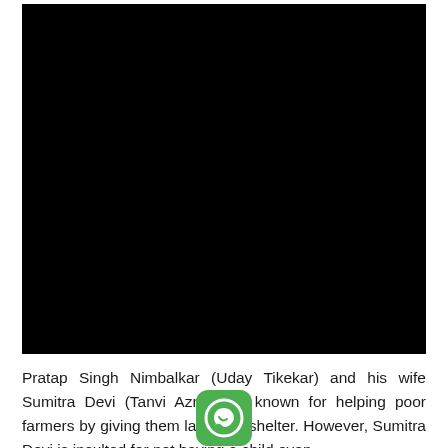[Figure (photo): A completely black rectangular image, likely a video thumbnail or dark scene photograph.]
Pratap Singh Nimbalkar (Uday Tikekar) and his wife Sumitra Devi (Tanvi Azmi) are known for helping poor farmers by giving them land and shelter. However, Sumitra Devi is insulted for not having a child even though she is...